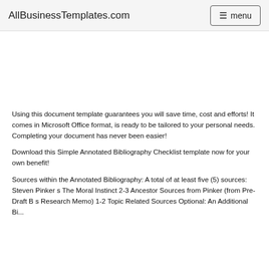AllBusinessTemplates.com  menu
Using this document template guarantees you will save time, cost and efforts! It comes in Microsoft Office format, is ready to be tailored to your personal needs. Completing your document has never been easier!
Download this Simple Annotated Bibliography Checklist template now for your own benefit!
Sources within the Annotated Bibliography: A total of at least five (5) sources: Steven Pinker s The Moral Instinct 2-3 Ancestor Sources from Pinker (from Pre-Draft B s Research Memo) 1-2 Topic Related Sources Optional: An Additional Bi...